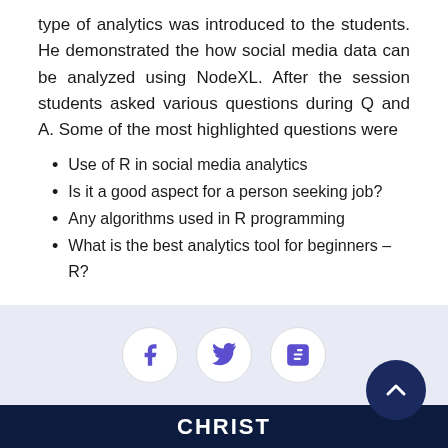type of analytics was introduced to the students. He demonstrated the how social media data can be analyzed using NodeXL. After the session students asked various questions during Q and A. Some of the most highlighted questions were
Use of R in social media analytics
Is it a good aspect for a person seeking job?
Any algorithms used in R programming
What is the best analytics tool for beginners – R?
CHRIST